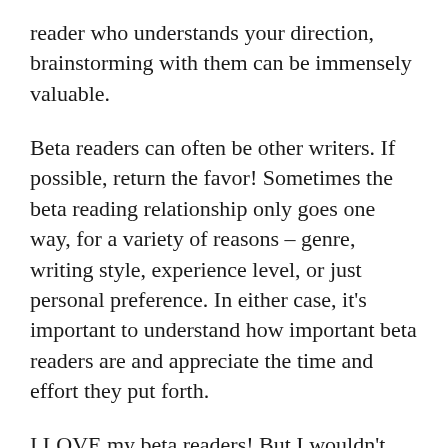reader who understands your direction, brainstorming with them can be immensely valuable.
Beta readers can often be other writers. If possible, return the favor! Sometimes the beta reading relationship only goes one way, for a variety of reasons – genre, writing style, experience level, or just personal preference. In either case, it's important to understand how important beta readers are and appreciate the time and effort they put forth.
I LOVE my beta readers! But I wouldn't mind finding a few more. If you are interested in beta reading some upcoming work, please contact me!